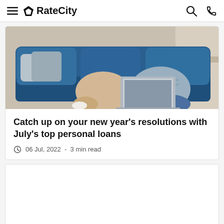RateCity
[Figure (photo): Two people sitting on a blue sofa looking at a laptop computer]
Catch up on your new year's resolutions with July's top personal loans
06 Jul, 2022  -  3 min read
[Figure (photo): Empty white card placeholder for second article]